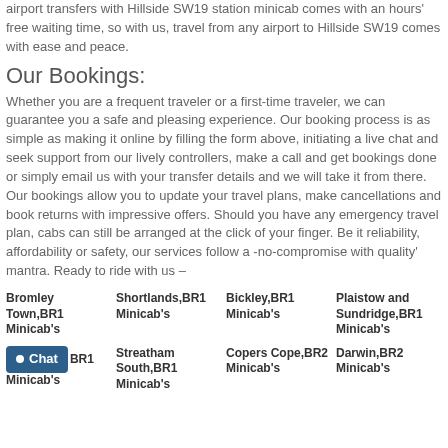airport transfers with Hillside SW19 station minicab comes with an hours' free waiting time, so with us, travel from any airport to Hillside SW19 comes with ease and peace.
Our Bookings:
Whether you are a frequent traveler or a first-time traveler, we can guarantee you a safe and pleasing experience. Our booking process is as simple as making it online by filling the form above, initiating a live chat and seek support from our lively controllers, make a call and get bookings done or simply email us with your transfer details and we will take it from there. Our bookings allow you to update your travel plans, make cancellations and book returns with impressive offers. Should you have any emergency travel plan, cabs can still be arranged at the click of your finger. Be it reliability, affordability or safety, our services follow a -no-compromise with quality' mantra. Ready to ride with us –
Bromley Town,BR1 Minicab's
Shortlands,BR1 Minicab's
Bickley,BR1 Minicab's
Plaistow and Sundridge,BR1 Minicab's
W... BR1 Minicab's
Streatham South,BR1 Minicab's
Copers Cope,BR2 Minicab's
Darwin,BR2 Minicab's